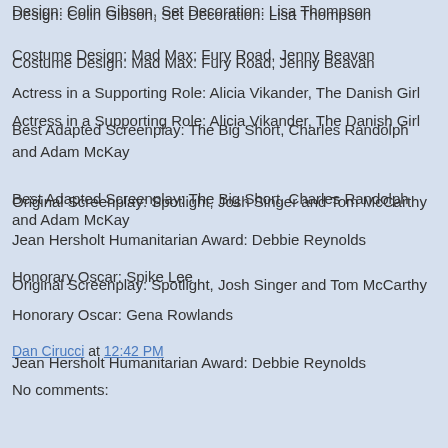Design: Colin Gibson, Set Decoration: Lisa Thompson
Costume Design: Mad Max: Fury Road, Jenny Beavan
Actress in a Supporting Role: Alicia Vikander, The Danish Girl
Best Adapted Screenplay: The Big Short, Charles Randolph and Adam McKay
Original Screenplay: Spotlight, Josh Singer and Tom McCarthy
Jean Hersholt Humanitarian Award: Debbie Reynolds
Honorary Oscar: Spike Lee
Honorary Oscar: Gena Rowlands
Dan Cirucci at 12:42 PM
No comments: